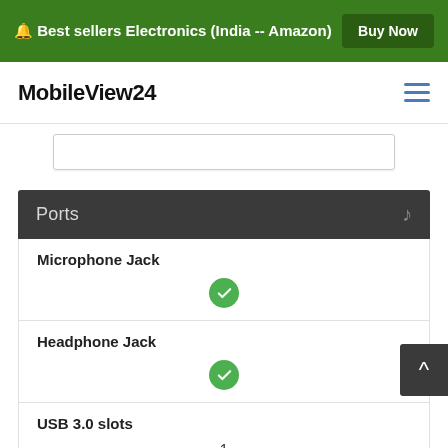🔔 Best sellers Electronics (India -- Amazon)   Buy Now
MobileView24
| Ports |  |
| --- | --- |
| Microphone Jack | ✓ |
| Headphone Jack | ✓ |
| USB 3.0 slots | 1 |
| SD Card Reader |  |